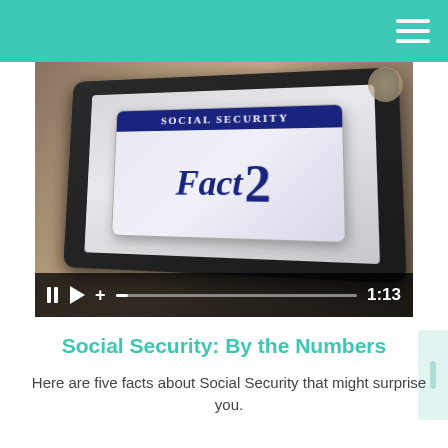[Figure (screenshot): Video player showing a Social Security card with 'Fact 2' text displayed on a tablet device on a wooden surface. Video controls show pause, play, volume buttons, progress bar, and timestamp 1:13.]
Social Security: By the Numbers
Here are five facts about Social Security that might surprise you.